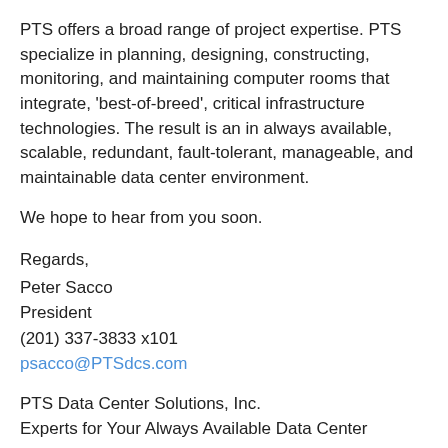PTS offers a broad range of project expertise. PTS specialize in planning, designing, constructing, monitoring, and maintaining computer rooms that integrate, 'best-of-breed', critical infrastructure technologies. The result is an in always available, scalable, redundant, fault-tolerant, manageable, and maintainable data center environment.
We hope to hear from you soon.
Regards,
Peter Sacco
President
(201) 337-3833 x101
psacco@PTSdcs.com
PTS Data Center Solutions, Inc.
Experts for Your Always Available Data Center
568 Commerce Street
Franklin Lakes, NJ 07417
(201) 337-4722 Fax
Visit PTSdcs.com or PTSd...